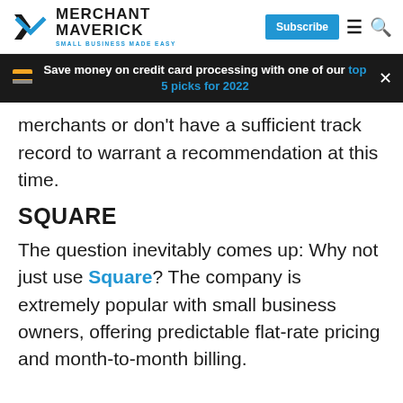MERCHANT MAVERICK — SMALL BUSINESS MADE EASY — Subscribe
Save money on credit card processing with one of our top 5 picks for 2022
merchants or don't have a sufficient track record to warrant a recommendation at this time.
SQUARE
The question inevitably comes up: Why not just use Square? The company is extremely popular with small business owners, offering predictable flat-rate pricing and month-to-month billing.